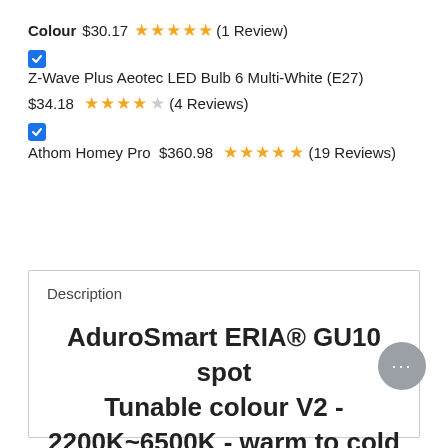Colour  $30.17  ★★★★★ (1 Review)
✓ Z-Wave Plus Aeotec LED Bulb 6 Multi-White (E27)  $34.18  ★★★★☆ (4 Reviews)
✓ Athom Homey Pro  $360.98  ★★★★★ (19 Reviews)
Description
AduroSmart ERIA® GU10 spot Tunable colour V2 - 2200K~6500K - warm to cold ambiance + 16 million colors